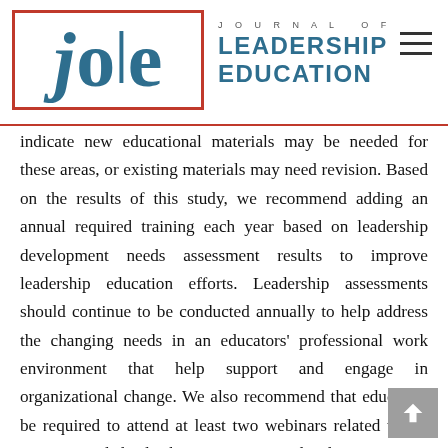Journal of Leadership Education
indicate new educational materials may be needed for these areas, or existing materials may need revision. Based on the results of this study, we recommend adding an annual required training each year based on leadership development needs assessment results to improve leadership education efforts. Leadership assessments should continue to be conducted annually to help address the changing needs in an educators' professional work environment that help support and engage in organizational change. We also recommend that educators be required to attend at least two webinars related to the interpersonal leadership competence development as a result of our assessments. Finally, we recommend that Extension leadership be provided with assistance in interpreting data